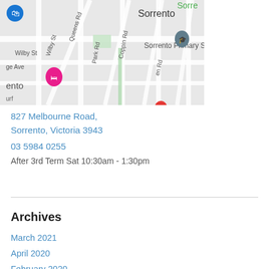[Figure (map): Google Maps screenshot showing Sorrento area with streets including Wilby St, Queens Rd, Park Rd, Coppin Rd, and markers for Sorrento Primary School and other locations]
827 Melbourne Road,
Sorrento, Victoria 3943
03 5984 0255
After 3rd Term Sat 10:30am - 1:30pm
Archives
March 2021
April 2020
February 2020
January 2020
November 2019